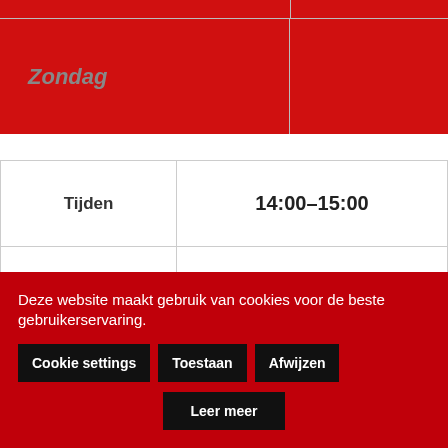|  |  |
| --- | --- |
| Zondag |  |
| Tijden | 14:00–15:00 |
| Maandag |  |
| Dinsdag |  |
| Woensdag |  |
| Donderdag |  |
Deze website maakt gebruik van cookies voor de beste gebruikerservaring.
Cookie settings
Toestaan
Afwijzen
Leer meer